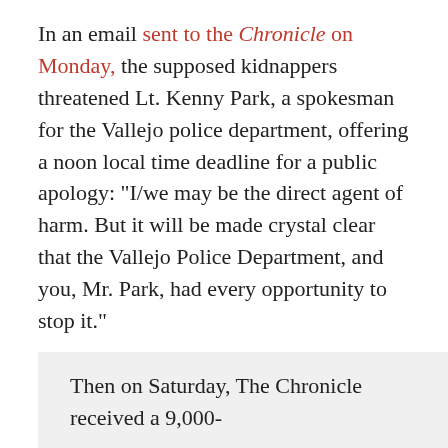In an email sent to the Chronicle on Monday, the supposed kidnappers threatened Lt. Kenny Park, a spokesman for the Vallejo police department, offering a noon local time deadline for a public apology: "I/we may be the direct agent of harm. But it will be made crystal clear that the Vallejo Police Department, and you, Mr. Park, had every opportunity to stop it."
That message followed a much longer email from the alleged kidnappers sent to the paper this past Saturday, in which they claimed to be an Oceans Eleven-type group:
Then on Saturday, The Chronicle received a 9,000-